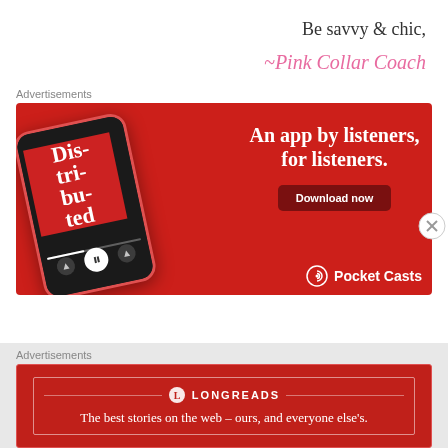Be savvy & chic,
~Pink Collar Coach
Advertisements
[Figure (infographic): Pocket Casts advertisement: red background with phone showing 'Distributed' podcast, text 'An app by listeners, for listeners.' and 'Download now' button with Pocket Casts logo]
Advertisements
[Figure (infographic): Longreads advertisement on dark red background: Longreads logo and tagline 'The best stories on the web - ours, and everyone else's.']